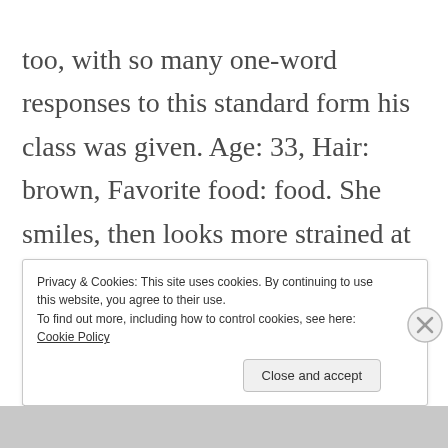too, with so many one-word responses to this standard form his class was given. Age: 33, Hair: brown, Favorite food: food. She smiles, then looks more strained at the next two answers he'd supplied: She likes to … do dishes, She's really good at … doing dishes. She tries to look grateful as he's pretending not to watch but
Privacy & Cookies: This site uses cookies. By continuing to use this website, you agree to their use. To find out more, including how to control cookies, see here: Cookie Policy
Close and accept